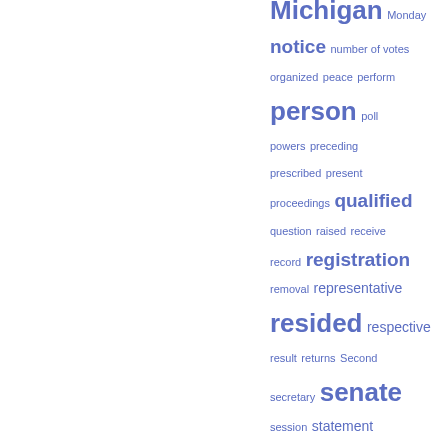[Figure (infographic): Word cloud of government/legal terms in blue, varying font sizes indicating frequency. Terms include Michigan, Monday, notice, number of votes, organized, peace, perform, person, poll, powers, preceding, prescribed, present, proceedings, qualified, question, raised, receive, record, registration, removal, representative, resided, respective, result, returns, Second, secretary, senate, session, statement, supervisors, term, term of office, thereafter, therein, thereof, thousand, tion, town, township clerk.]